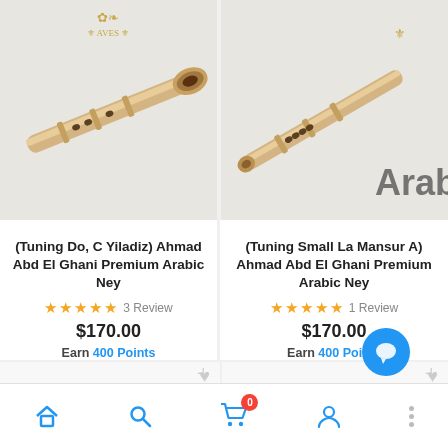[Figure (photo): Photo of a bamboo ney flute (Arabic wind instrument) photographed diagonally on white background with decorative logo]
(Tuning Do, C Yiladiz) Ahmad Abd El Ghani Premium Arabic Ney
★★★★★ 3 Review
$170.00
Earn 400 Points
ADD TO CART
[Figure (photo): Photo of a bamboo ney flute photographed diagonally on white background with 'Arab' text visible]
(Tuning Small La Mansur A) Ahmad Abd El Ghani Premium Arabic Ney
★★★★★ 1 Review
$170.00
Earn 400 Points
ADD TO CART
TOP SELLER